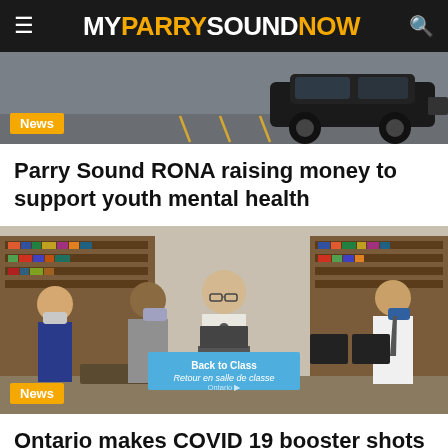MY PARRY SOUND NOW
[Figure (photo): Partial view of a black SUV in a parking lot]
News
Parry Sound RONA raising money to support youth mental health
[Figure (photo): Press conference in a school library with four people, one speaking at a podium with a 'Back to Class / Retour en salle de classe Ontario' banner, others wearing masks]
News
Ontario makes COVID 19 booster shots